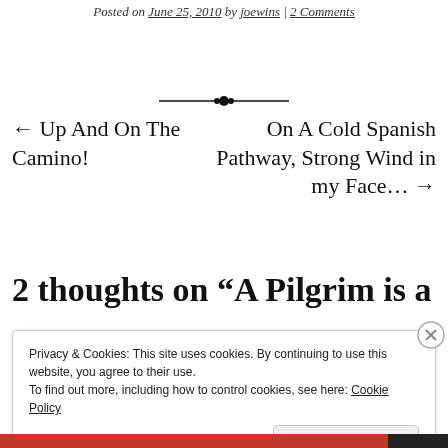Posted on June 25, 2010 by joewins | 2 Comments
← Up And On The Camino!
On A Cold Spanish Pathway, Strong Wind in my Face… →
2 thoughts on “A Pilgrim is a
Privacy & Cookies: This site uses cookies. By continuing to use this website, you agree to their use.
To find out more, including how to control cookies, see here: Cookie Policy
Close and accept